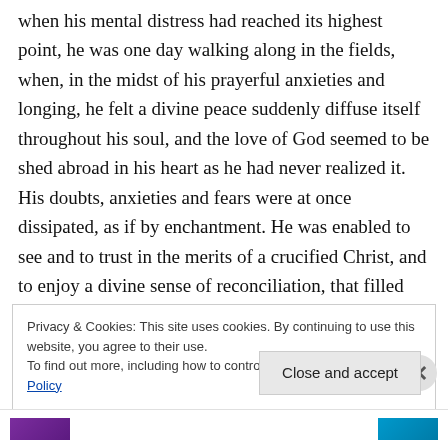when his mental distress had reached its highest point, he was one day walking along in the fields, when, in the midst of his prayerful anxieties and longing, he felt a divine peace suddenly diffuse itself throughout his soul, and the love of God seemed to be shed abroad in his heart as he had never realized it. His doubts, anxieties and fears were at once dissipated, as if by enchantment. He was enabled to see and to trust in the merits of a crucified Christ, and to enjoy a divine sense of reconciliation, that filled him with rapture and seemed to determine his destiny forever. From this moment he recognized himself as consecrated
Privacy & Cookies: This site uses cookies. By continuing to use this website, you agree to their use.
To find out more, including how to control cookies, see here: Cookie Policy